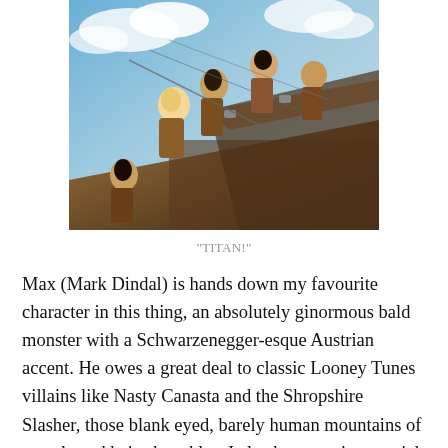[Figure (illustration): Anime illustration showing several characters from Attack on Titan in action poses against a blue sky background with clouds]
“TITAN!”
Max (Mark Dindal) is hands down my favourite character in this thing, an absolutely ginormous bald monster with a Schwarzenegger-esque Austrian accent. He owes a great deal to classic Looney Tunes villains like Nasty Canasta and the Shropshire Slasher, those blank eyed, barely human mountains of muscle and hairy knuckles. I also have to give special mention to Max’s speaking animation. When he talks, his whole face remains as immobile as a